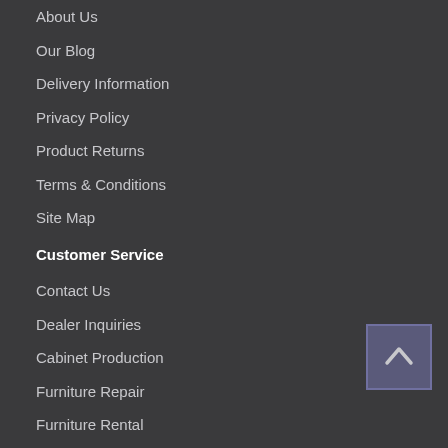About Us
Our Blog
Delivery Information
Privacy Policy
Product Returns
Terms & Conditions
Site Map
Customer Service
Contact Us
Dealer Inquiries
Cabinet Production
Furniture Repair
Furniture Rental
Appraisal Service
Upholstery Service
Extras
Client Testimonials